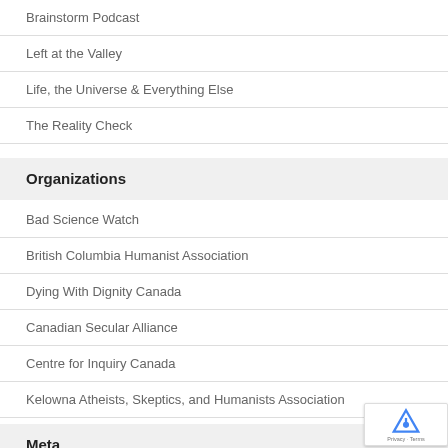Brainstorm Podcast
Left at the Valley
Life, the Universe & Everything Else
The Reality Check
Organizations
Bad Science Watch
British Columbia Humanist Association
Dying With Dignity Canada
Canadian Secular Alliance
Centre for Inquiry Canada
Kelowna Atheists, Skeptics, and Humanists Association
Meta